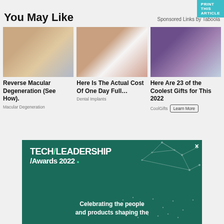PRINT THIS ARTICLE
You May Like
Sponsored Links by Taboola
[Figure (photo): Woman touching her eye]
Reverse Macular Degeneration (See How).
Macular Degeneration
[Figure (photo): Close-up of teeth and smile]
Here Is The Actual Cost Of One Day Full…
Dental Implants
[Figure (photo): Hand with ring under running water]
Here Are 23 of the Coolest Gifts for This 2022
CoolGifts
Learn More
[Figure (advertisement): Tech/Leadership Awards 2022 advertisement banner - Celebrating the people and products shaping the...]